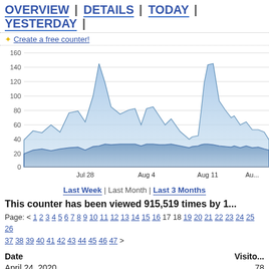OVERVIEW | DETAILS | TODAY | YESTERDAY |
✦ Create a free counter!
[Figure (area-chart): Multi-series area chart showing visitor counts over time (approx Jul 28 to Aug 18). Two overlapping filled areas: lighter blue for total visits peaking around 110 (Jul 28 area) and 105 (Aug 4), with a spike to ~130 near Aug 11. Darker blue lower area around 25-35. X-axis labels: Jul 28, Aug 4, Aug 11, Aug (truncated). Y-axis: 0 to 160.]
Last Week | Last Month | Last 3 Months
This counter has been viewed 915,519 times by 1...
Page: < 1 2 3 4 5 6 7 8 9 10 11 12 13 14 15 16 17 18 19 20 21 22 23 24 25 26 37 38 39 40 41 42 43 44 45 46 47 >
| Date | Visitors |
| --- | --- |
| April 24, 2020 | 78 |
| April 23, 2020 | 76 |